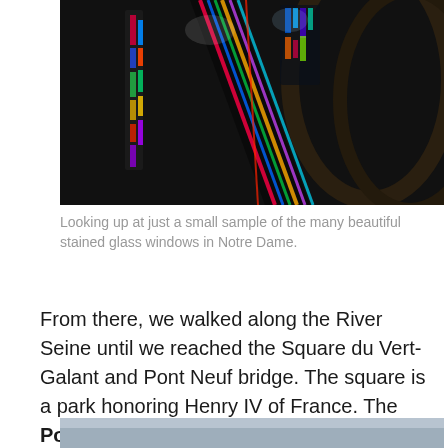[Figure (photo): Looking up at stained glass windows inside Notre Dame cathedral, showing colorful illuminated glass panels against a dark architectural background.]
Looking up at just a small sample of the many beautiful stained glass windows in Notre Dame.
From there, we walked along the River Seine until we reached the Square du Vert-Galant and Pont Neuf bridge. The square is a park honoring Henry IV of France. The Pont Neuf bridge is the oldest surviving bridge across the Seine.
[Figure (photo): Partial view of an outdoor scene showing a grey-blue sky, appears to be the beginning of another photo of the Pont Neuf or Seine area.]